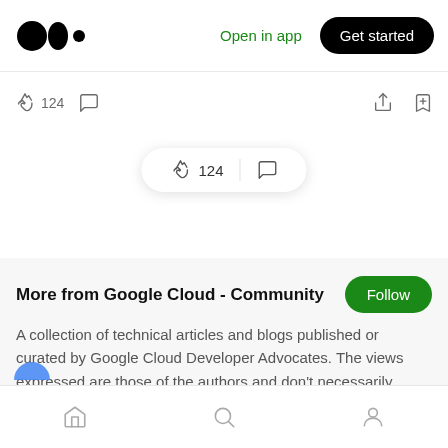[Figure (screenshot): Medium app top navigation bar with logo, Open in app link, and Get started button]
[Figure (screenshot): Action bar with clap icon showing 124, comment icon, share icon, and bookmark icon]
[Figure (screenshot): Floating pill with clap icon, 124 count, divider, and comment icon]
More from Google Cloud - Community
A collection of technical articles and blogs published or curated by Google Cloud Developer Advocates. The views expressed are those of the authors and don't necessarily reflect those of Google.
[Figure (screenshot): Bottom navigation bar with home, search, and profile icons]